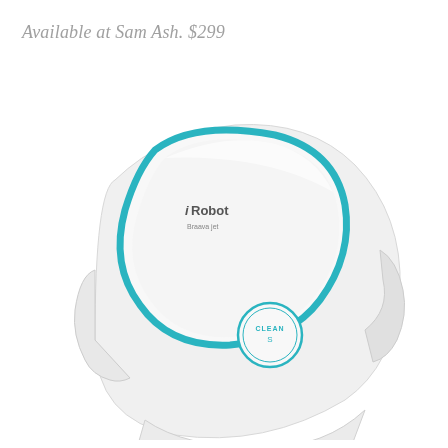Available at Sam Ash. $299
[Figure (photo): Top-down angled view of an iRobot Braava jet robotic floor mopper. The device is white and square-shaped with rounded corners, featuring a teal/turquoise border accent on the top panel with the iRobot Braava jet logo, and a circular CLEAN button in the center of the top surface. The robot is shown docked or upright, with a blue patterned cleaning pad visible at the bottom.]